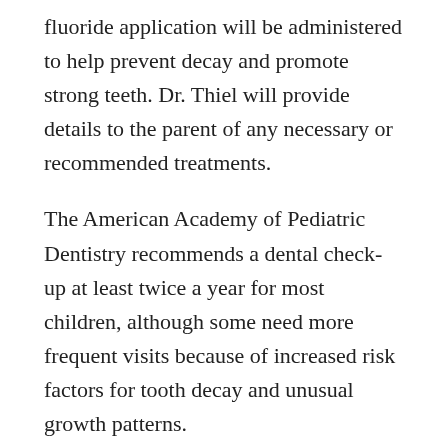fluoride application will be administered to help prevent decay and promote strong teeth. Dr. Thiel will provide details to the parent of any necessary or recommended treatments.
The American Academy of Pediatric Dentistry recommends a dental check-up at least twice a year for most children, although some need more frequent visits because of increased risk factors for tooth decay and unusual growth patterns.
You Can Sign In Now!